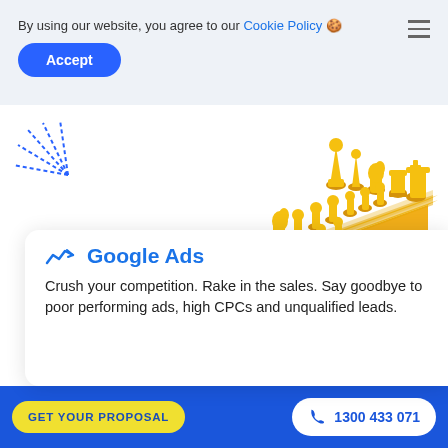By using our website, you agree to our Cookie Policy 🍪
Accept
[Figure (photo): Yellow 3D chess pieces arranged on a yellow chess board, photographed from an angle. A decorative blue radiating lines graphic appears in the upper left area.]
Google Ads
Crush your competition. Rake in the sales. Say goodbye to poor performing ads, high CPCs and unqualified leads.
GET YOUR PROPOSAL
1300 433 071